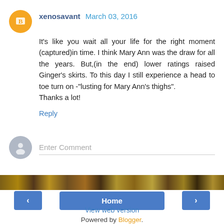xenosavant March 03, 2016
It's like you wait all your life for the right moment (captured)in time. I think Mary Ann was the draw for all the years. But,(in the end) lower ratings raised Ginger's skirts. To this day I still experience a head to toe turn on -"lusting for Mary Ann's thighs".
Thanks a lot!
Reply
Enter Comment
[Figure (photo): Dark image strip showing a crowd scene]
< Home >
View web version
Powered by Blogger.